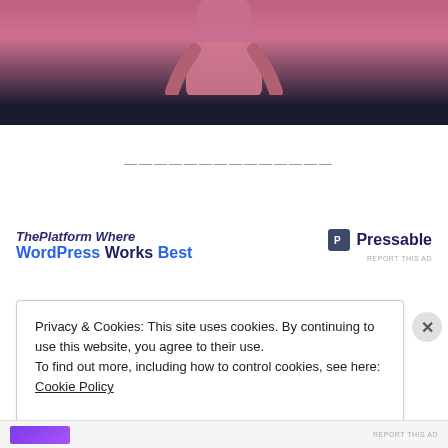[Figure (photo): Photo of a person wearing a pink/red top on a dark stage background]
——————————————
[Figure (screenshot): Advertisement: 'ThePlatform Where WordPress Works Best' with Pressable logo and 'REPORT THIS AD']
Privacy & Cookies: This site uses cookies. By continuing to use this website, you agree to their use.
To find out more, including how to control cookies, see here:
Cookie Policy
Close and accept